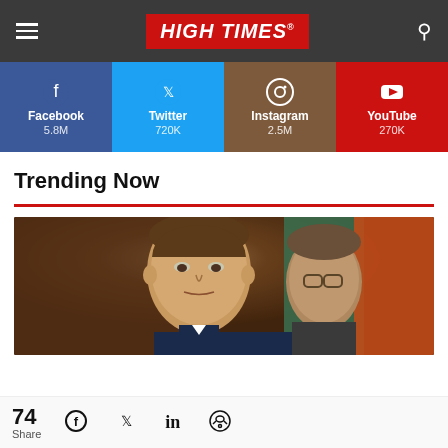HIGH TIMES
[Figure (infographic): Social media follow bar with Facebook 5.8M, Twitter 720K, Instagram 2.5M, YouTube 270K]
Trending Now
[Figure (photo): Photo of a man (Ron DeSantis) looking forward at a press conference, with another man visible behind him and green and orange flags in background]
74 Share | Facebook | Twitter | LinkedIn | Reddit